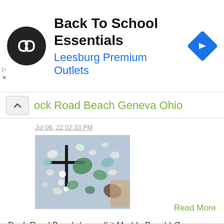[Figure (logo): Ad banner with circular black logo containing white infinity/arrow icon, text 'Back To School Essentials' and 'Leesburg Premium Outlets' in blue, blue diamond navigation icon on right]
Dock Road Beach Geneva Ohio
Jul 06, 22 02:33 PM
[Figure (photo): Photo of sea glass and pebbles including green, white, and brown pieces arranged on a dark surface]
Dock Road Beach (we call it Marble Beach) Geneva Ohio It is April 2, 2022. About 40 degrees but sunny n calm. So many pebbles to dig through! Found some
Read More